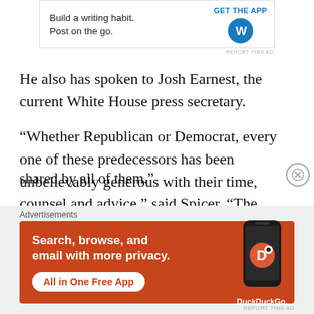[Figure (other): WordPress advertisement banner — 'Build a writing habit. Post on the go.' with GET THE APP button and WordPress logo]
He also has spoken to Josh Earnest, the current White House press secretary.
“Whether Republican or Democrat, every one of these predecessors has been unbelievably generous with their time, counsel and advice,” said Spicer. “The respect for the institution is one that is shared by all of them.”
[Figure (other): DuckDuckGo advertisement banner — 'Search, browse, and email with more privacy. All in One Free App' with phone graphic and DuckDuckGo logo]